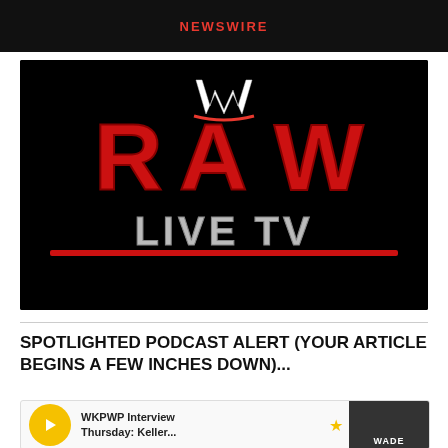NEWSWIRE
[Figure (logo): WWE RAW LIVE TV logo on black background — WWE star logo above large red metallic RAW letters, with LIVE TV in silver below]
SPOTLIGHTED PODCAST ALERT (YOUR ARTICLE BEGINS A FEW INCHES DOWN)...
[Figure (screenshot): Podcast card showing WKPWP Interview Thursday: Keller... with yellow play button and Wade thumbnail image on right]